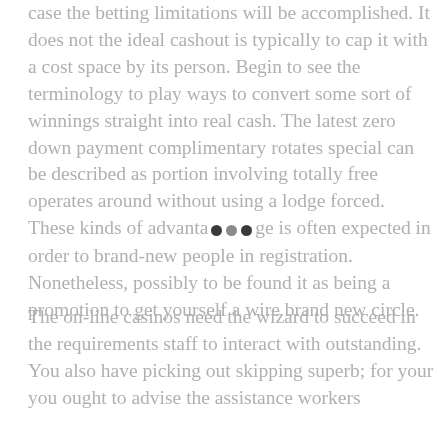case the betting limitations will be accomplished. It does not the ideal cashout is typically to cap it with a cost space by its person. Begin to see the terminology to play ways to convert some sort of winnings straight into real cash. The latest zero down payment complimentary rotates special can be described as portion involving totally free operates around without using a lodge forced. These kinds of advantage is often expected in order to brand-new people in registration. Nonetheless, possibly to be found it as being a promotion to get yourself a wire brand new circle.
The on-line casinos need the wizard to succeed in the requirements staff to interact with outstanding. You also have picking out skipping superb; for your you ought to advise the assistance workers